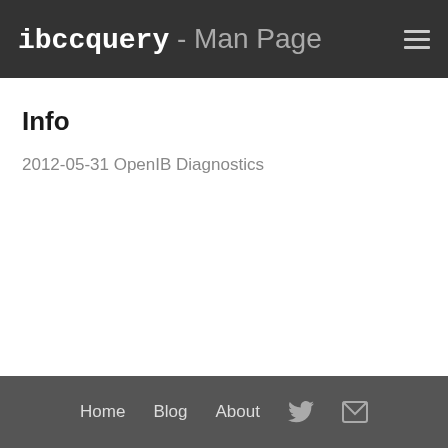ibccquery - Man Page
Info
2012-05-31 OpenIB Diagnostics
Home  Blog  About